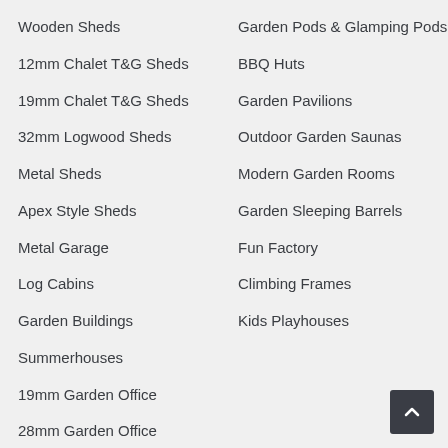Wooden Sheds
12mm Chalet T&G Sheds
19mm Chalet T&G Sheds
32mm Logwood Sheds
Metal Sheds
Apex Style Sheds
Metal Garage
Log Cabins
Garden Buildings
Summerhouses
19mm Garden Office
28mm Garden Office
32mm Logwood Garden
Garden Pods & Glamping Pods
BBQ Huts
Garden Pavilions
Outdoor Garden Saunas
Modern Garden Rooms
Garden Sleeping Barrels
Fun Factory
Climbing Frames
Kids Playhouses